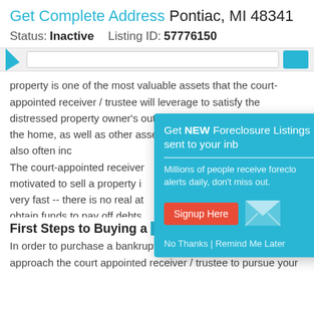Get Complete Address Pontiac, MI 48341
Status: Inactive    Listing ID: 57776150
property is one of the most valuable assets that the court-appointed receiver / trustee will leverage to satisfy the distressed property owner's outstanding debts. The contents of the home, as well as other assets (vehicles, boats, etc.), are also often included. The court-appointed receiver / trustee is motivated to sell a property in a distressed condition very fast -- there is no real attachment, and the goal is to obtain funds to pay off debts. This means that a home buyer and/or investor looking for a bankruptcy property for sale in Pontiac, MI can be tremendously benefited.
[Figure (screenshot): Popup advertisement for foreclosure listing email alerts with 'Get NEW Foreclosure Listings sent to your inbox' heading, subtitle 'Millions of people receive foreclosure alerts daily, don't miss out.', a red Signup Here button, an envelope icon, and 'No Thanks | Remind Me Later' link]
First Steps to Buying a Bankruptcy Property
In order to purchase a bankruptcy property, you will need to approach the court appointed receiver / trustee to pursue your